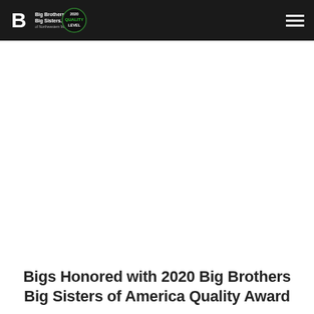Big Brothers Big Sisters — 2020 Quality Level
Bigs Honored with 2020 Big Brothers Big Sisters of America Quality Award